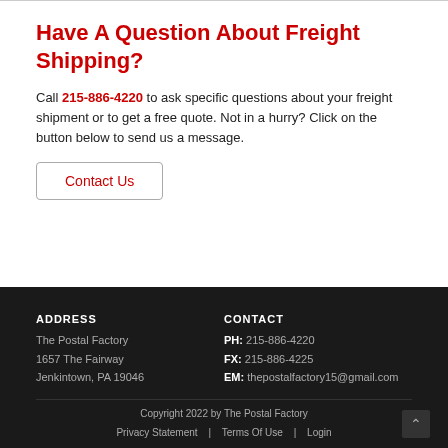Have A Question About Freight Shipping?
Call 215-886-4220 to ask specific questions about your freight shipment or to get a free quote. Not in a hurry? Click on the button below to send us a message.
Contact Us
ADDRESS
The Postal Factory
1657 The Fairway
Jenkintown, PA 19046
CONTACT
PH: 215-886-4220
FX: 215-886-4225
EM: thepostalfactory15@gmail.com
Copyright 2022 by The Postal Factory
Privacy Statement | Terms Of Use | Login